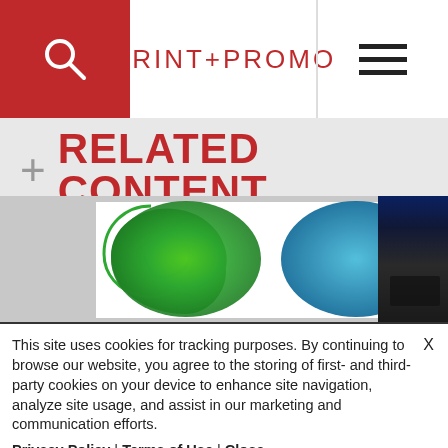PRINT+PROMO
+ RELATED CONTENT
[Figure (logo): Colorful S-shaped logo with green and blue wave forms on white background, with a partial dark image to the right]
This site uses cookies for tracking purposes. By continuing to browse our website, you agree to the storing of first- and third-party cookies on your device to enhance site navigation, analyze site usage, and assist in our marketing and communication efforts. Privacy Policy | Terms of Use | Close